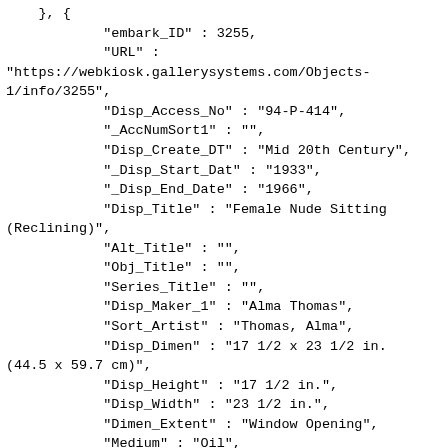}, {
            "embark_ID" : 3255,
            "URL" :
"https://webkiosk.gallerysystems.com/Objects-1/info/3255",
            "Disp_Access_No" : "94-P-414",
            "_AccNumSort1" : "",
            "Disp_Create_DT" : "Mid 20th Century",
            "_Disp_Start_Dat" : "1933",
            "_Disp_End_Date" : "1966",
            "Disp_Title" : "Female Nude Sitting (Reclining)",
            "Alt_Title" : "",
            "Obj_Title" : "",
            "Series_Title" : "",
            "Disp_Maker_1" : "Alma Thomas",
            "Sort_Artist" : "Thomas, Alma",
            "Disp_Dimen" : "17 1/2 x 23 1/2 in. (44.5 x 59.7 cm)",
            "Disp_Height" : "17 1/2 in.",
            "Disp_Width" : "23 1/2 in.",
            "Dimen_Extent" : "Window Opening",
            "Medium" : "Oil",
            "Support" : "canvas",
            "Disp_Medium" : "Oil on canvas",
            "Info_Page_Comm" : "",
            "Dedication" : "Gift of Joseph N. Gennett",
            "Copyright_Type" : "Artwork © the artist or artist&#39;s estate",